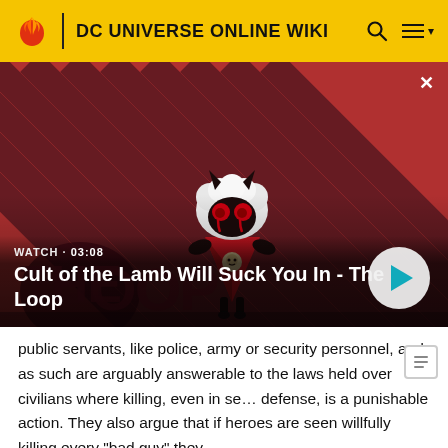DC UNIVERSE ONLINE WIKI
[Figure (screenshot): Video thumbnail for 'Cult of the Lamb Will Suck You In - The Loop' showing a cartoon lamb-like demonic character with red eyes against a red and dark diagonal stripe background. Shows WATCH · 03:08 and a play button.]
public servants, like police, army or security personnel, and as such are arguably answerable to the laws held over civilians where killing, even in self defense, is a punishable action. They also argue that if heroes are seen willfully killing every "bad guy" they